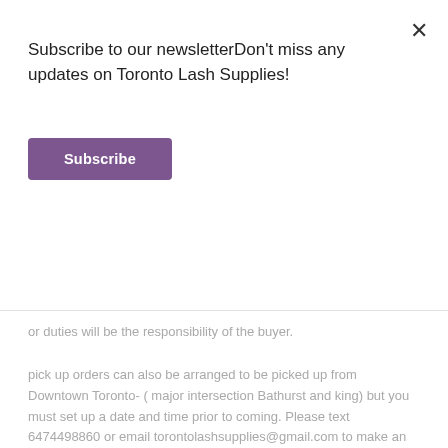Subscribe to our newsletterDon't miss any updates on Toronto Lash Supplies!
Subscribe
or duties will be the responsibility of the buyer.
pick up orders can also be arranged to be picked up from Downtown Toronto- ( major intersection Bathurst and king) but you must set up a date and time prior to coming. Please text 6474498860 or email torontolashsupplies@gmail.com to make an appointment
we are not responsible for wrong addresses - please make sure your shipping address is correct and up to date while making your purchase.